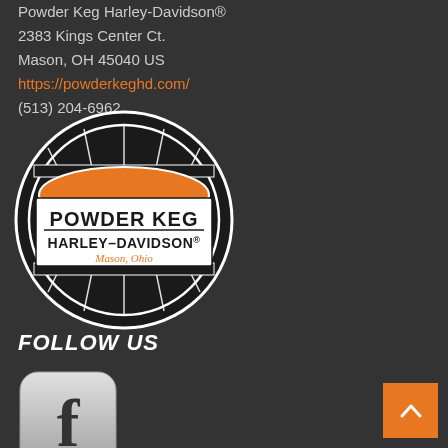Powder Keg Harley-Davidson®
2383 Kings Center Ct.
Mason, OH 45040 US
https://powderkeghd.com/
(513) 204-6962
[Figure (logo): Powder Keg Harley-Davidson circular logo with orange diamond shape in center, black and white barrel-style border, text reading POWDER KEG HARLEY-DAVIDSON Mason, Ohio]
FOLLOW US
[Figure (logo): Facebook social media icon - silver/gray rounded square button with lowercase f logo]
[Figure (other): Orange back-to-top button with upward chevron arrow in bottom right corner]